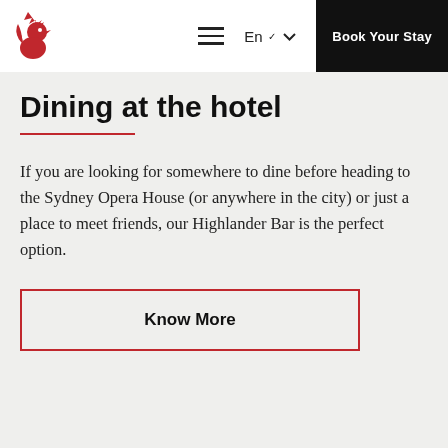En | Book Your Stay
Dining at the hotel
If you are looking for somewhere to dine before heading to the Sydney Opera House (or anywhere in the city) or just a place to meet friends, our Highlander Bar is the perfect option.
Know More